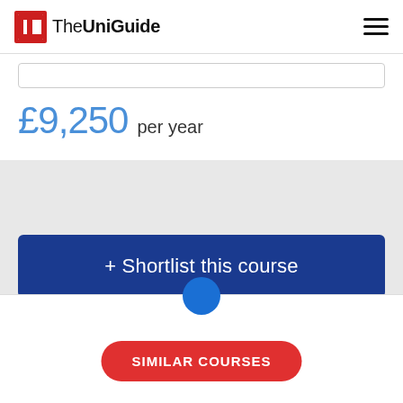TheUniGuide
£9,250 per year
+ Shortlist this course
More course information from the university
SIMILAR COURSES